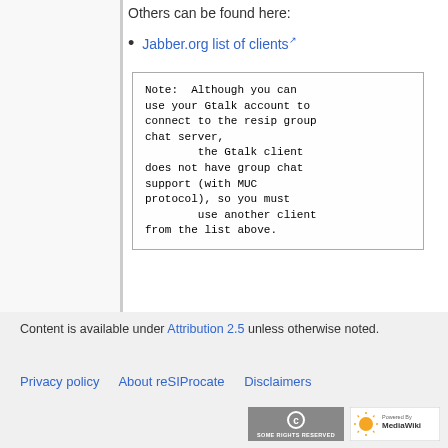Others can be found here:
Jabber.org list of clients
Note:  Although you can use your Gtalk account to connect to the resip group chat server,
        the Gtalk client does not have group chat support (with MUC protocol), so you must
        use another client from the list above.
Content is available under Attribution 2.5 unless otherwise noted.
Privacy policy   About reSIProcate   Disclaimers